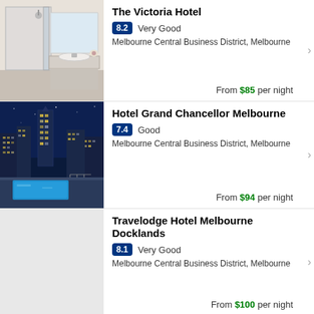The Victoria Hotel
8.2  Very Good
Melbourne Central Business District, Melbourne
From $85 per night
[Figure (photo): Hotel bathroom with glass shower, white tiles and vanity]
Hotel Grand Chancellor Melbourne
7.4  Good
Melbourne Central Business District, Melbourne
From $94 per night
[Figure (photo): Melbourne city skyline at night with rooftop pool in foreground]
Travelodge Hotel Melbourne Docklands
8.1  Very Good
Melbourne Central Business District, Melbourne
From $100 per night
[Figure (photo): Light grey placeholder image for hotel]